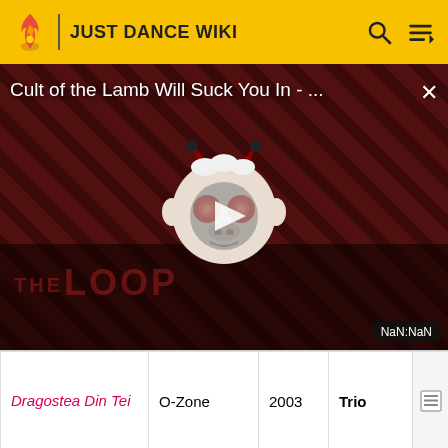JUST DANCE WIKI
[Figure (screenshot): Video player overlay showing 'Cult of the Lamb Will Suck You In - ...' title with a cartoon character and play button, THE LOOP watermark, and NaN:NaN timestamp]
| Song | Artist | Year | Mode |  |
| --- | --- | --- | --- | --- |
| Dragostea Din Tei | O-Zone | 2003 | Trio |  |
| El Tiki | Maluma | 2015 | Duet |  |